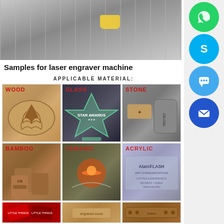[Figure (photo): Laser engraver machine close-up photo showing the rail and laser head mechanism]
[Figure (photo): WhatsApp icon (green circle with phone)]
[Figure (photo): Skype icon (blue circle with S logo)]
[Figure (photo): Chat/messaging app icon (light blue circle with speech bubble)]
[Figure (photo): Mail/email icon (dark blue circle with envelope)]
Samples for laser engraver machine
APPLICABLE MATERIAL:
[Figure (photo): Wood material sample - engraved bamboo cutting board with Christmas tree design. Label: WOOD]
[Figure (photo): Glass material sample - star-shaped glass award trophy. Label: GLASS]
[Figure (photo): Stone material sample - engraved stone pieces. Label: STONE]
[Figure (photo): Bamboo material sample - engraved bamboo pen holders/cups. Label: BAMBOO]
[Figure (photo): Ceramic material sample - laser engraving process on ceramic. Label: CERAMIC]
[Figure (photo): Acrylic material sample - cut acrylic sign for Atarc Flash. Label: ACRYLIC]
[Figure (photo): Bottom row left - red engraved plastic tags]
[Figure (photo): Bottom row center - engraved wooden item]
[Figure (photo): Bottom row right - engraved leather item]